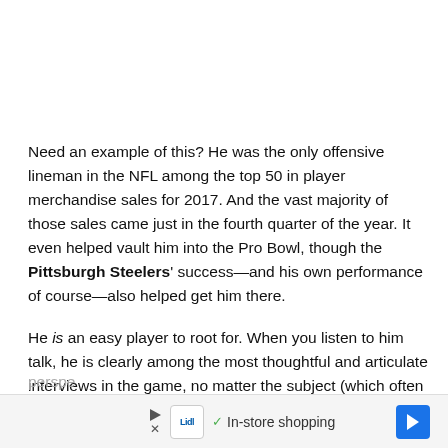Need an example of this? He was the only offensive lineman in the NFL among the top 50 in player merchandise sales for 2017. And the vast majority of those sales came just in the fourth quarter of the year. It even helped vault him into the Pro Bowl, though the Pittsburgh Steelers' success—and his own performance of course—also helped get him there.
He is an easy player to root for. When you listen to him talk, he is clearly among the most thoughtful and articulate interviews in the game, no matter the subject (which often strays far away from football). He brings with him a unique perspe...